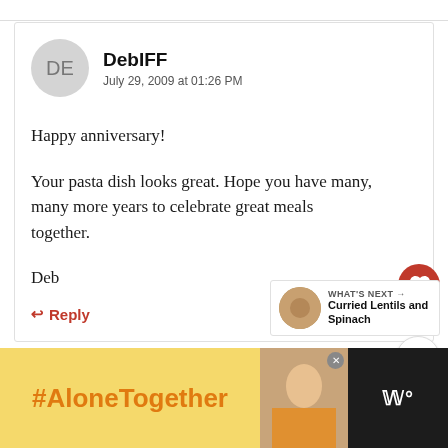DebIFF
July 29, 2009 at 01:26 PM
Happy anniversary!
Your pasta dish looks great. Hope you have many, many more years to celebrate great meals together.
Deb
↩ Reply
4
[Figure (infographic): What's Next widget showing Curried Lentils and Spinach with a food photo]
[Figure (infographic): Bottom advertisement bar with #AloneTogether text on yellow background, photo of woman, and logo on dark background]